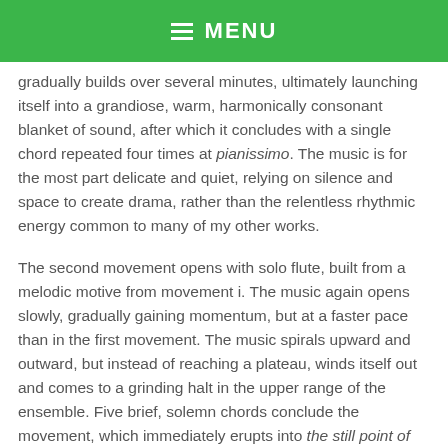MENU
gradually builds over several minutes, ultimately launching itself into a grandiose, warm, harmonically consonant blanket of sound, after which it concludes with a single chord repeated four times at pianissimo. The music is for the most part delicate and quiet, relying on silence and space to create drama, rather than the relentless rhythmic energy common to many of my other works.
The second movement opens with solo flute, built from a melodic motive from movement i. The music again opens slowly, gradually gaining momentum, but at a faster pace than in the first movement. The music spirals upward and outward, but instead of reaching a plateau, winds itself out and comes to a grinding halt in the upper range of the ensemble. Five brief, solemn chords conclude the movement, which immediately erupts into the still point of destruction.